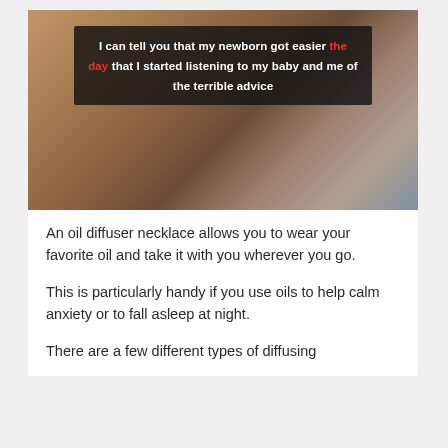[Figure (photo): A close-up photo of what appears to be a baby's foot or hand being held up, against a blurred background. A dark semi-transparent text overlay reads: 'I can tell you that my newborn got easier the day that I started listening to my baby and me of the terrible advice', with 'the day' highlighted in red.]
An oil diffuser necklace allows you to wear your favorite oil and take it with you wherever you go.
This is particularly handy if you use oils to help calm anxiety or to fall asleep at night.
There are a few different types of diffusing